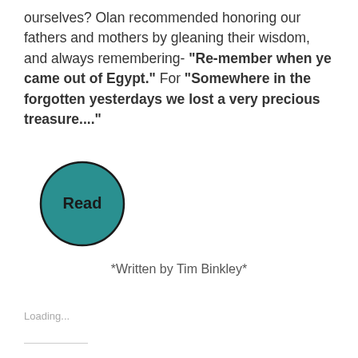ourselves? Olan recommended honoring our fathers and mothers by gleaning their wisdom, and always remembering- "Re-member when ye came out of Egypt." For "Somewhere in the forgotten yesterdays we lost a very precious treasure...."
[Figure (other): A teal/dark-cyan circular button with the word 'Read' in bold dark text, outlined with a dark circular border.]
*Written by Tim Binkley*
Loading...